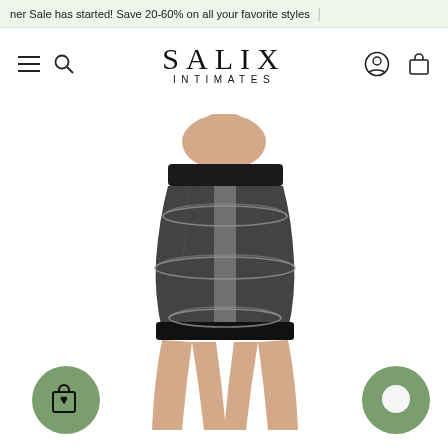ner Sale has started! Save 20-60% on all your favorite styles
SALIX INTIMATES
[Figure (photo): Woman wearing black high-waist shapewear shorts with compression rings illustrated around waist, hip, and thigh areas. The garment is shown on a model from torso to mid-thigh.]